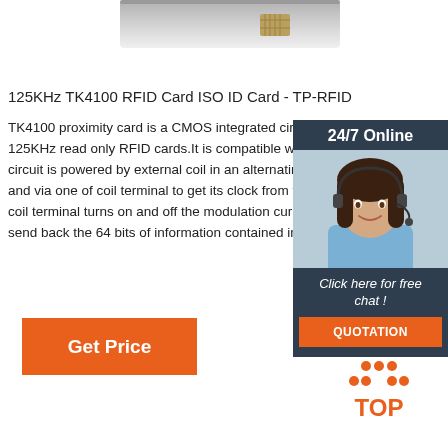[Figure (photo): Partial view of an RFID card at the top of the page]
125KHz TK4100 RFID Card ISO ID Card - TP-RFID
TK4100 proximity card is a CMOS integrated circuit for 125KHz read only RFID cards.It is compatible with E circuit is powered by external coil in an alternating m and via one of coil terminal to get its clock from this coil terminal turns on and off the modulation current send back the 64 bits of information contained in the
[Figure (photo): Customer service representative with headset - 24/7 Online chat widget sidebar]
[Figure (other): Get Price orange button]
[Figure (logo): TOP logo with orange dots forming a triangle above the word TOP]